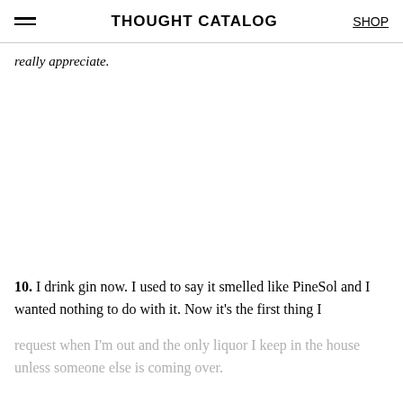THOUGHT CATALOG
really appreciate.
10. I drink gin now. I used to say it smelled like PineSol and I wanted nothing to do with it. Now it's the first thing I request when I'm out and the only liquor I keep in the house unless someone else is coming over.